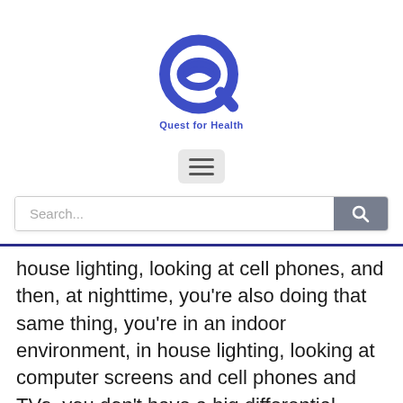[Figure (logo): Quest for Health logo — stylized blue Q with swirl, text 'Quest for Health' below]
[Figure (other): Hamburger menu button (three horizontal lines) on a light grey rounded rectangle]
[Figure (other): Search bar with placeholder text 'Search...' and a grey search button with magnifying glass icon]
house lighting, looking at cell phones, and then, at nighttime, you're also doing that same thing, you're in an indoor environment, in house lighting, looking at computer screens and cell phones and TVs, you don't have a big differential between the light that you're getting during the daytime and the light that you're getting at nighttime. And that results in basically that central clock in the brain not getting the proper